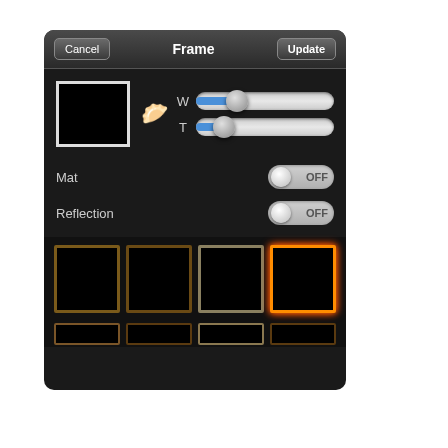[Figure (screenshot): iOS app screenshot showing a 'Frame' settings panel with Cancel and Update buttons, sliders for W and T parameters, Mat and Reflection toggle switches (both OFF), and a row of frame style thumbnails at the bottom with the last one selected (highlighted with orange glow)]